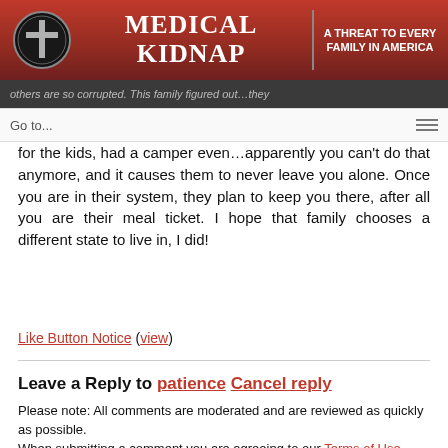[Figure (logo): Medical Kidnap website header banner with logo (cross in circle), title 'Medical Kidnap', tagline 'A Threat to Every Family in America']
others are so corrupted. This family figured out…they
Go to...
for the kids, had a camper even…apparently you can't do that anymore, and it causes them to never leave you alone. Once you are in their system, they plan to keep you there, after all you are their meal ticket. I hope that family chooses a different state to live in, I did!
Like Button Notice (view)
Leave a Reply to patience Cancel reply
Please note: All comments are moderated and are reviewed as quickly as possible.
When submitting a comment you are agreeing to our Terms of Use